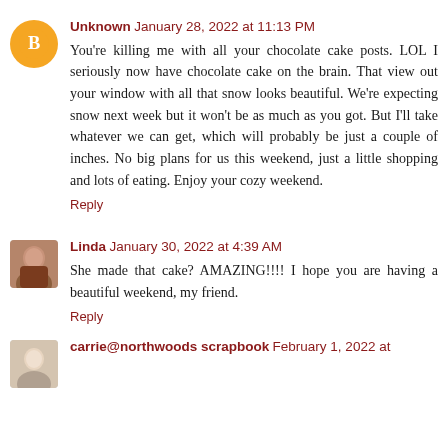Unknown January 28, 2022 at 11:13 PM
You're killing me with all your chocolate cake posts. LOL I seriously now have chocolate cake on the brain. That view out your window with all that snow looks beautiful. We're expecting snow next week but it won't be as much as you got. But I'll take whatever we can get, which will probably be just a couple of inches. No big plans for us this weekend, just a little shopping and lots of eating. Enjoy your cozy weekend.
Reply
Linda January 30, 2022 at 4:39 AM
She made that cake? AMAZING!!!! I hope you are having a beautiful weekend, my friend.
Reply
carrie@northwoods scrapbook February 1, 2022 at